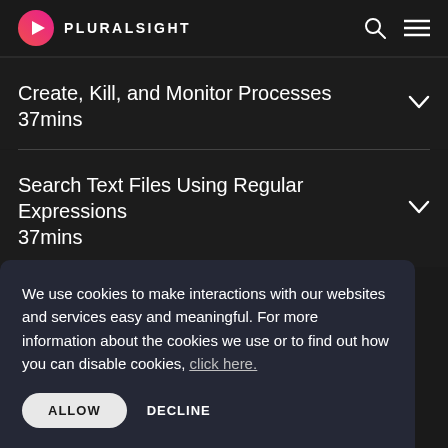PLURALSIGHT
Create, Kill, and Monitor Processes
37mins
Search Text Files Using Regular Expressions
37mins
We use cookies to make interactions with our websites and services easy and meaningful. For more information about the cookies we use or to find out how you can disable cookies, click here.
ALLOW
DECLINE